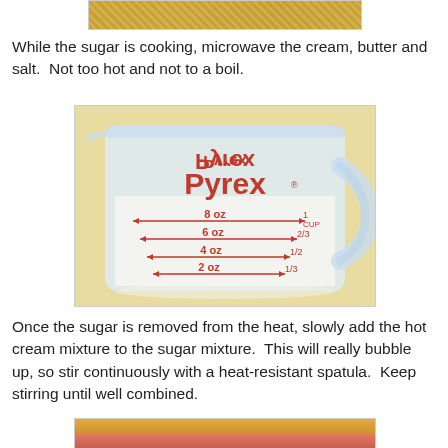[Figure (photo): Top portion of a food/cooking photo, partially cropped, showing golden caramel or sugar cooking in a pan]
While the sugar is cooking, microwave the cream, butter and salt.  Not too hot and not to a boil.
[Figure (photo): A Pyrex glass measuring cup filled with cream/butter mixture, showing measurement markings: 8 oz / 1 CUP, 6 oz / 2/3, 4 oz / 1/2, 2 oz / 1/3. The Pyrex logo and its mirror reflection are visible.]
Once the sugar is removed from the heat, slowly add the hot cream mixture to the sugar mixture.  This will really bubble up, so stir continuously with a heat-resistant spatula.  Keep stirring until well combined.
[Figure (photo): Bottom photo partially visible showing a red/orange spatula stirring golden caramel sugar mixture]